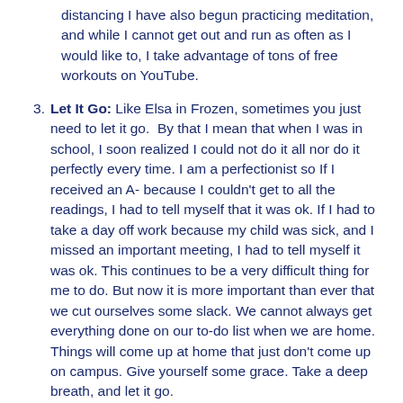distancing I have also begun practicing meditation, and while I cannot get out and run as often as I would like to, I take advantage of tons of free workouts on YouTube.
Let It Go: Like Elsa in Frozen, sometimes you just need to let it go. By that I mean that when I was in school, I soon realized I could not do it all nor do it perfectly every time. I am a perfectionist so If I received an A- because I couldn't get to all the readings, I had to tell myself that it was ok. If I had to take a day off work because my child was sick, and I missed an important meeting, I had to tell myself it was ok. This continues to be a very difficult thing for me to do. But now it is more important than ever that we cut ourselves some slack. We cannot always get everything done on our to-do list when we are home. Things will come up at home that just don't come up on campus. Give yourself some grace. Take a deep breath, and let it go.